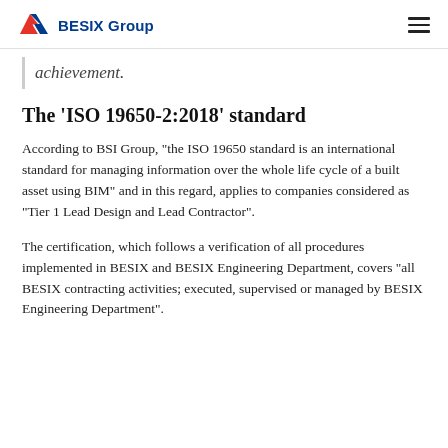BESIX Group
achievement.
The 'ISO 19650-2:2018' standard
According to BSI Group, "the ISO 19650 standard is an international standard for managing information over the whole life cycle of a built asset using BIM" and in this regard, applies to companies considered as "Tier 1 Lead Design and Lead Contractor".
The certification, which follows a verification of all procedures implemented in BESIX and BESIX Engineering Department, covers "all BESIX contracting activities; executed, supervised or managed by BESIX Engineering Department".